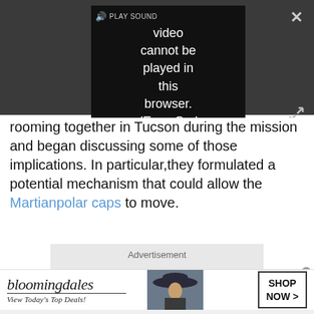[Figure (screenshot): Video player showing error message: 'Video cannot be played in this browser. (Error Cod' with PLAY SOUND button and speaker icon, on dark background with close and expand buttons]
rooming together in Tucson during the mission and began discussing some of those implications. In particular,they formulated a potential mechanism that could allow the Martianpolar caps to move.
[Figure (other): Advertisement placeholder box with label 'Advertisement']
[Figure (other): Bloomingdales advertisement banner: 'bloomingdales / View Today's Top Deals!' with model photo and 'SHOP NOW >' button]